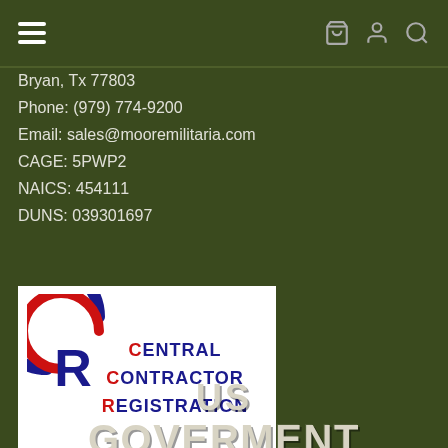Navigation bar with hamburger menu and icons
Bryan, Tx 77803
Phone:  (979) 774-9200
Email:  sales@mooremilitaria.com
CAGE: 5PWP2
NAICS: 454111
DUNS: 039301697
[Figure (logo): Central Contractor Registration (CCR) logo with blue and red circular shield containing letter R, and text CENTRAL CONTRACTOR REGISTRATION in blue with red initials]
US GOVERMENT